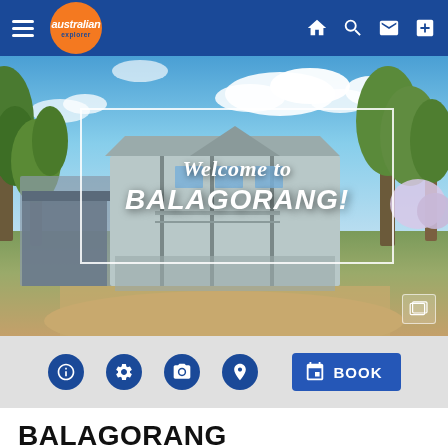australian explorer — navigation bar
[Figure (photo): Exterior photo of Balagorang holiday house surrounded by eucalyptus trees, with blue sky and clouds. Overlaid with a white-bordered text box reading 'Welcome to BALAGORANG!']
BOOK
BALAGORANG
HOUSE   ANGLESEA, VIC